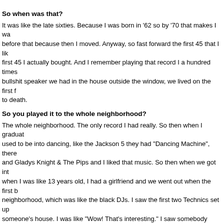So when was that?
It was like the late sixties. Because I was born in '62 so by '70 that makes I wa... before that because then I moved. Anyway, so fast forward the first 45 that I lik... first 45 I actually bought. And I remember playing that record I a hundred times... bullshit speaker we had in the house outside the window, we lived on the first f... to death.
So you played it to the whole neighborhood?
The whole neighborhood. The only record I had really. So then when I graduat... used to be into dancing, like the Jackson 5 they had "Dancing Machine", there... and Gladys Knight & The Pips and I liked that music. So then when we got int... when I was like 13 years old, I had a girlfriend and we went out when the first b... neighborhood, which was like the black DJs. I saw the first two Technics set up... someone's house. I was like "Wow! That's interesting." I saw somebody doing... and I never knew what that was all about. So, I used to hang out with all my fri... we used to do all this what we now call breakdancing. We would do battles. So... and my friend would say "David, we hangin' at my place" and I would play som... was a kid that sat by the stereo with the records and put on the tunes, one at a... than that's what it was, you'd play one tune at a time. If it ended, the people...